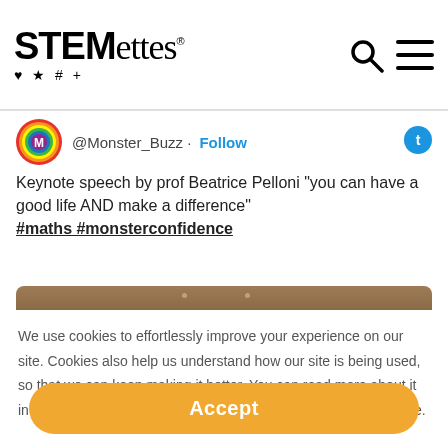[Figure (logo): STEMettes logo with heart star hash plus symbols beneath]
[Figure (screenshot): Tweet from @Monster_Buzz with Follow button: Keynote speech by prof Beatrice Pelloni 'you can have a good life AND make a difference' #maths #monsterconfidence, with partial image of a brown device below]
We use cookies to effortlessly improve your experience on our site. Cookies also help us understand how our site is being used, so that we can keep making it better. You can read more about it in our cookie policy and change your settings here at any time.
Accept